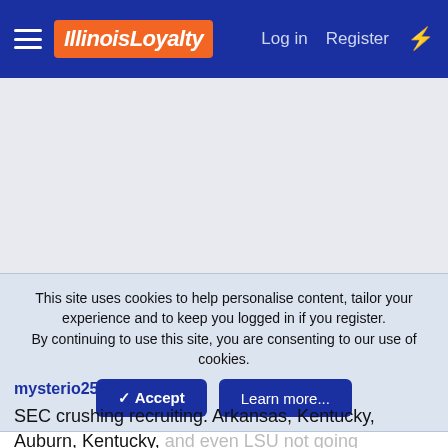IllinoisLoyalty — Log in   Register
[Figure (other): Advertisement placeholder area, light gray background]
This site uses cookies to help personalise content, tailor your experience and to keep you logged in if you register. By continuing to use this site, you are consenting to our use of cookies.
✓ Accept   Learn more...
mysterio2525
SEC crushing recruiting. Arkansas, Kentucky, Auburn, Kentucky, and even LSU not going anywhere. Not to mention Florida and Alabama